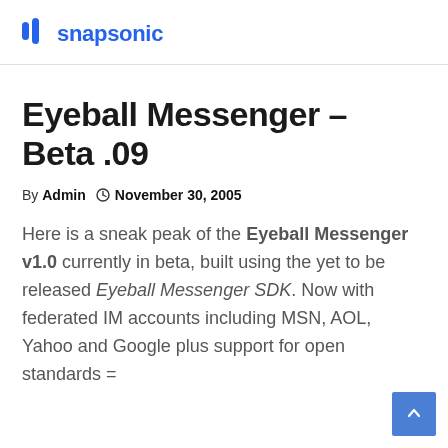snapsonic
Eyeball Messenger – Beta .09
By Admin   November 30, 2005
Here is a sneak peak of the Eyeball Messenger v1.0 currently in beta, built using the yet to be released Eyeball Messenger SDK. Now with federated IM accounts including MSN, AOL, Yahoo and Google plus support for open standards =